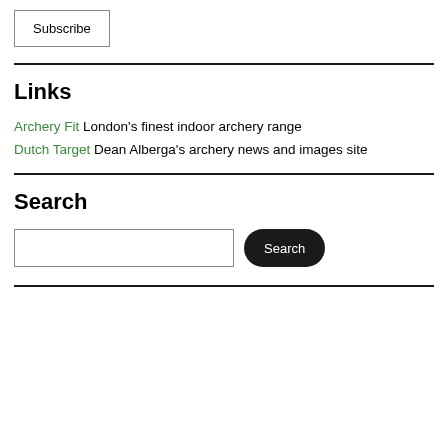Subscribe
Links
Archery Fit London's finest indoor archery range
Dutch Target Dean Alberga's archery news and images site
Search